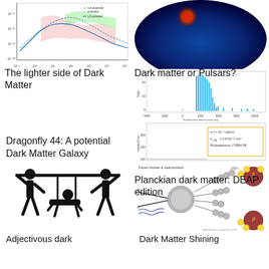[Figure (continuous-plot): Scientific plot showing dark matter cross-section or signal bounds on log-log axes, with colored regions and curves]
The lighter side of Dark Matter
[Figure (photo): Blue circular astronomical image with red/orange spot, likely X-ray or radio image of a galaxy cluster]
Dark matter or Pulsars?
[Figure (continuous-plot): Histogram of photoelectron detection time in nanoseconds, showing a spike around 2000 ns]
[Figure (continuous-plot): DEAP dark matter simulation plot showing events per 10 ns vs time, with annotation box listing mx, sigma, and photoelectron count]
Dragonfly 44: A potential Dark Matter Galaxy
Planckian dark matter: DEAP edition
[Figure (illustration): Black and white stick figure illustration of two figures carrying a third figure on a pole, like a stretcher]
Adjectivous dark
[Figure (schematic): Parton shower and hadronization diagram showing particle collision and jets with labeled particles including pions and antiprotons]
Dark Matter Shining